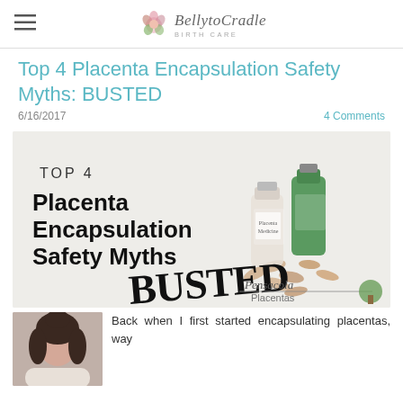BellytoCradle Birth Care
Top 4 Placenta Encapsulation Safety Myths: BUSTED
6/16/2017    4 Comments
[Figure (illustration): Promotional image for article: 'TOP 4 Placenta Encapsulation Safety Myths BUSTED' with pill capsules and herbal bottles in background. Branded with Pensacola Placentas logo.]
[Figure (photo): Author photo: woman with dark hair pulled back, partial view]
Back when I first started encapsulating placentas, way